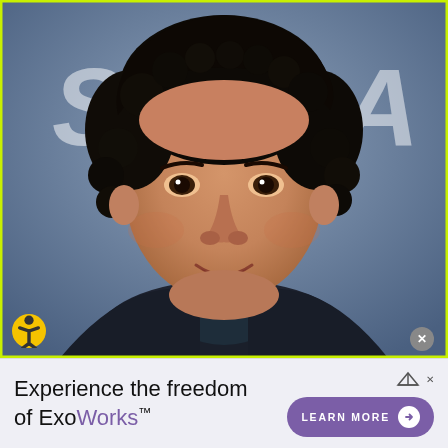[Figure (photo): Portrait photo of a man with dark curly hair, smiling, wearing a dark blazer over a patterned shirt, photographed against a blue-grey backdrop with partial letters 'S' and 'A' visible. Yellow-green border frame. Accessibility icon in lower left corner.]
Experience the freedom of ExoWorks™
[Figure (other): Advertisement banner for ExoWorks with 'LEARN MORE' button in purple and an ad attribution logo. Close button (x) visible in upper right of ad area.]